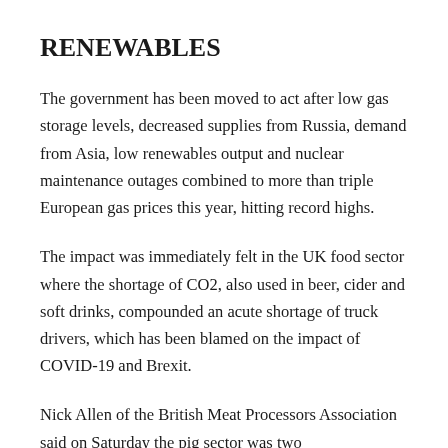RENEWABLES
The government has been moved to act after low gas storage levels, decreased supplies from Russia, demand from Asia, low renewables output and nuclear maintenance outages combined to more than triple European gas prices this year, hitting record highs.
The impact was immediately felt in the UK food sector where the shortage of CO2, also used in beer, cider and soft drinks, compounded an acute shortage of truck drivers, which has been blamed on the impact of COVID-19 and Brexit.
Nick Allen of the British Meat Processors Association said on Saturday the pig sector was two